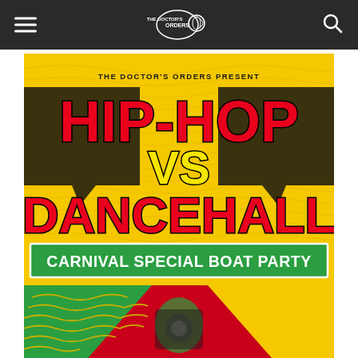THE DOCTOR'S ORDERS (logo) — hamburger menu and search icon
[Figure (illustration): Event poster for Hip-Hop vs Dancehall Carnival Special Boat Party presented by The Doctor's Orders. Yellow wavy background with large red bold text 'HIP-HOP VS DANCEHALL', yellow 'VS', green banner reading 'CARNIVAL SPECIAL BOAT PARTY', and bottom graphic with green diagonal stripes and crowd/speaker imagery in yellow/green tones.]